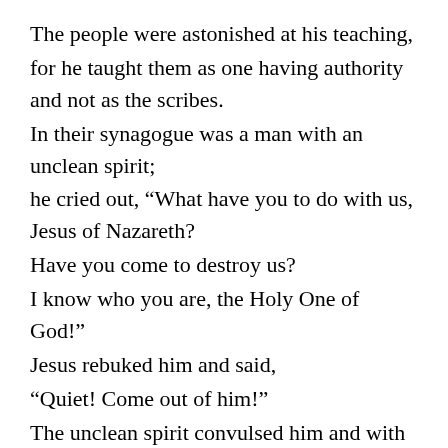The people were astonished at his teaching,
for he taught them as one having authority and not as the scribes.
In their synagogue was a man with an unclean spirit;
he cried out, “What have you to do with us, Jesus of Nazareth?
Have you come to destroy us?
I know who you are, the Holy One of God!”
Jesus rebuked him and said,
“Quiet! Come out of him!”
The unclean spirit convulsed him and with a loud cry came out of him.
All were amazed and asked one another,
“What is this?
A new teaching with authority,